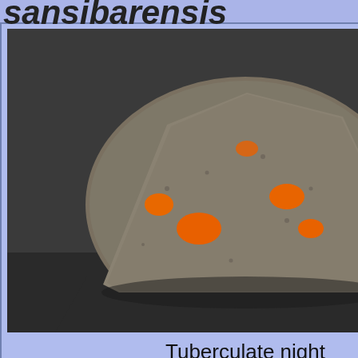sansibarensis
[Figure (photo): Photo of a tuberculate night anemone during daytime - a rock-like organism with orange spots on gray sandy substrate]
Tuberculate night anemone (daytime)
Bali, Indonesia 2016
Dive site: Secret bay
[Figure (photo): Photo of an undetermined anemone with long white tentacles spread out, body orange, on dark background]
undetermined anemone
Anilao, the Philippines
Ligpo island (ni...
Triactis
producta
Triactis sp.
[Figure (photo): Partial photo of Triactis sp. specimen]